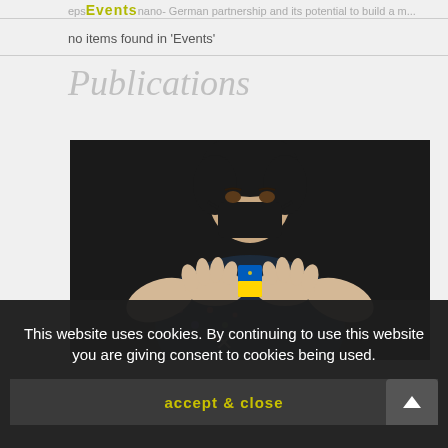Events ... nano- German partnership and its potential to build a m...
no items found in 'Events'
Publications
[Figure (photo): Person wearing a black mask holding a blue and yellow ribbon/flag item with both hands. The person wears a dark patterned shirt with small colorful prints.]
This website uses cookies. By continuing to use this website you are giving consent to cookies being used.
accept & close